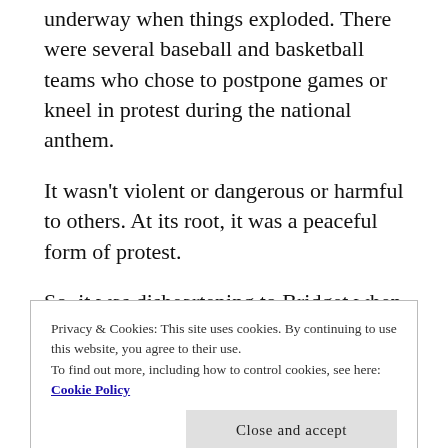underway when things exploded. There were several baseball and basketball teams who chose to postpone games or kneel in protest during the national anthem.
It wasn't violent or dangerous or harmful to others. At its root, it was a peaceful form of protest.
So, it was disheartening to Bridget when a local pastor took to social media to dismiss the Black Lives Matter movement and call professional athletes whiny for taking stands against injustices they felt were happening every day and could no longer ignore.
Privacy & Cookies: This site uses cookies. By continuing to use this website, you agree to their use.
To find out more, including how to control cookies, see here: Cookie Policy
Close and accept
...